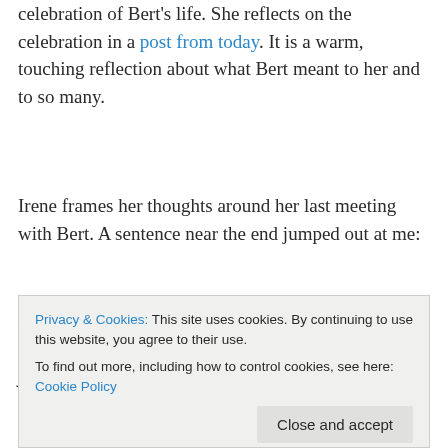celebration of Bert's life. She reflects on the celebration in a post from today. It is a warm, touching reflection about what Bert meant to her and to so many.
Irene frames her thoughts around her last meeting with Bert. A sentence near the end jumped out at me:
I wish I would have known that was going to be the last time I saw you–I probably would have hugged you longer.
Privacy & Cookies: This site uses cookies. By continuing to use this website, you agree to their use. To find out more, including how to control cookies, see here: Cookie Policy
past week. I have recalled how fragile life is and how